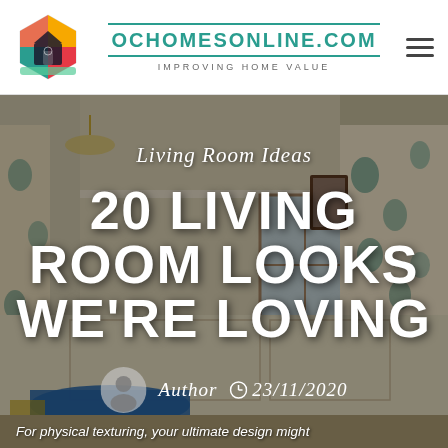OCHOMESONLINE.COM — IMPROVING HOME VALUE
[Figure (photo): Living room interior with blue floral curtains, white walls, a wooden framed mirror, and a blue-covered dining table. The image serves as a hero banner background.]
Living Room Ideas
20 LIVING ROOM LOOKS WE'RE LOVING
Author  23/11/2020
For physical texturing, your ultimate design might